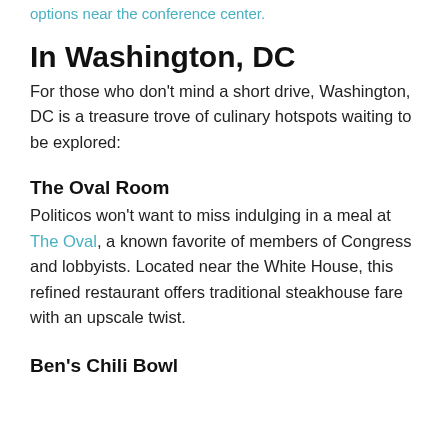options near the conference center.
In Washington, DC
For those who don't mind a short drive, Washington, DC is a treasure trove of culinary hotspots waiting to be explored:
The Oval Room
Politicos won't want to miss indulging in a meal at The Oval, a known favorite of members of Congress and lobbyists. Located near the White House, this refined restaurant offers traditional steakhouse fare with an upscale twist.
Ben's Chili Bowl